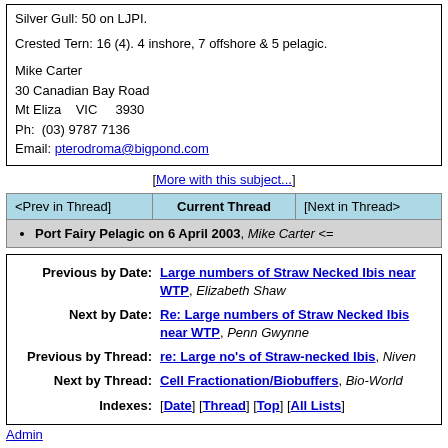Silver Gull: 50 on LJPI.

Crested Tern: 16 (4). 4 inshore, 7 offshore & 5 pelagic.

Mike Carter
30 Canadian Bay Road
Mt Eliza    VIC    3930
Ph:  (03) 9787 7136
Email: pterodroma@bigpond.com
[More with this subject...]
| <Prev in Thread> | Current Thread | [Next in Thread> |
| --- | --- | --- |
Port Fairy Pelagic on 6 April 2003, Mike Carter <=
| Previous by Date: | Large numbers of Straw Necked Ibis near WTP, Elizabeth Shaw |
| Next by Date: | Re: Large numbers of Straw Necked Ibis near WTP, Penn Gwynne |
| Previous by Thread: | re: Large no's of Straw-necked Ibis, Niven |
| Next by Thread: | Cell Fractionation/Biobuffers, Bio-World |
| Indexes: | [Date] [Thread] [Top] [All Lists] |
Admin